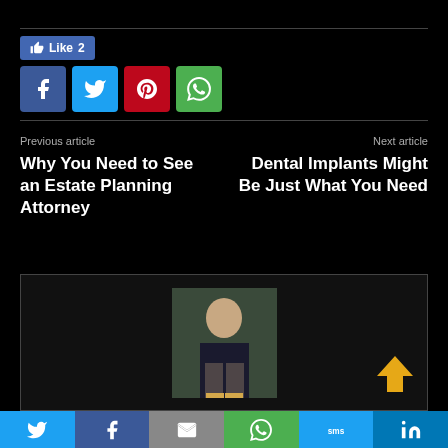[Figure (screenshot): Facebook Like button showing 'Like 2']
[Figure (screenshot): Social share buttons: Facebook, Twitter, Pinterest, WhatsApp]
Previous article
Why You Need to See an Estate Planning Attorney
Next article
Dental Implants Might Be Just What You Need
[Figure (photo): Author profile photo - man standing in forest]
[Figure (screenshot): Bottom social share bar: Twitter, Facebook, Email, WhatsApp, SMS, LinkedIn]